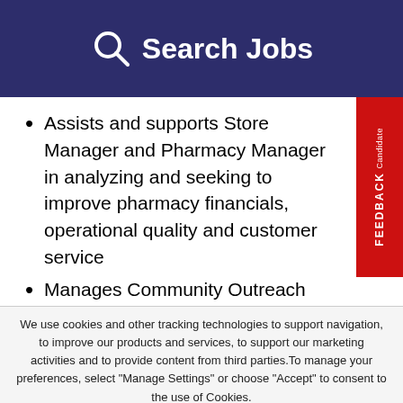Search Jobs
Assists and supports Store Manager and Pharmacy Manager in analyzing and seeking to improve pharmacy financials, operational quality and customer service
Manages Community Outreach Portal and coordinates and, at the direction of the Pharmacy Manager, assigns pharmacists
We use cookies and other tracking technologies to support navigation, to improve our products and services, to support our marketing activities and to provide content from third parties. To manage your preferences, select "Manage Settings" or choose "Accept" to consent to the use of Cookies.
Accept | Manage Settings